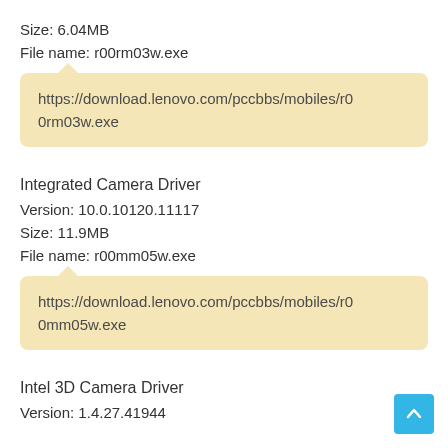Size: 6.04MB
File name: r00rm03w.exe
https://download.lenovo.com/pccbbs/mobiles/r00rm03w.exe
Integrated Camera Driver
Version: 10.0.10120.11117
Size: 11.9MB
File name: r00mm05w.exe
https://download.lenovo.com/pccbbs/mobiles/r00mm05w.exe
Intel 3D Camera Driver
Version: 1.4.27.41944